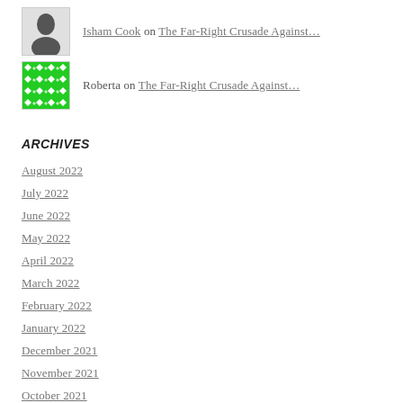Isham Cook on The Far-Right Crusade Against…
Roberta on The Far-Right Crusade Against…
ARCHIVES
August 2022
July 2022
June 2022
May 2022
April 2022
March 2022
February 2022
January 2022
December 2021
November 2021
October 2021